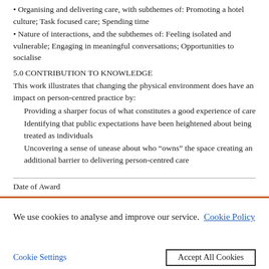• Organising and delivering care, with subthemes of: Promoting a hotel culture; Task focused care; Spending time
• Nature of interactions, and the subthemes of: Feeling isolated and vulnerable; Engaging in meaningful conversations; Opportunities to socialise
5.0 CONTRIBUTION TO KNOWLEDGE
This work illustrates that changing the physical environment does have an impact on person-centred practice by:
Providing a sharper focus of what constitutes a good experience of care
Identifying that public expectations have been heightened about being treated as individuals
Uncovering a sense of unease about who “owns” the space creating an additional barrier to delivering person-centred care
Date of Award
We use cookies to analyse and improve our service. Cookie Policy
Cookie Settings    Accept All Cookies